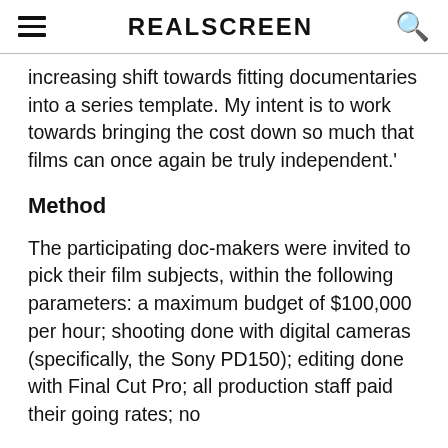REALSCREEN
increasing shift towards fitting documentaries into a series template. My intent is to work towards bringing the cost down so much that films can once again be truly independent.'
Method
The participating doc-makers were invited to pick their film subjects, within the following parameters: a maximum budget of $100,000 per hour; shooting done with digital cameras (specifically, the Sony PD150); editing done with Final Cut Pro; all production staff paid their going rates; no